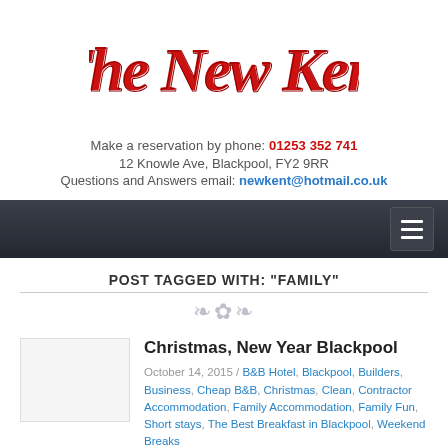[Figure (logo): The New Kent hotel logo in red cursive script on white background]
Make a reservation by phone: 01253 352 741
12 Knowle Ave, Blackpool, FY2 9RR
Questions and Answers email: newkent@hotmail.co.uk
Navigation bar with hamburger menu icon
POST TAGGED WITH: "FAMILY"
[Figure (illustration): Decorative ornamental divider]
[Figure (photo): Blank/white thumbnail image placeholder]
Christmas, New Year Blackpool
October 14, 2015 / B&B Hotel, Blackpool, Builders, Business, Cheap B&B, Christmas, Clean, Contractor Accommodation, Family Accommodation, Family Fun, Short stays, The Best Breakfast in Blackpool, Weekend Breaks